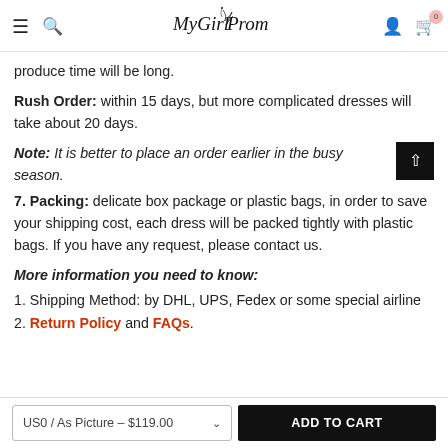MyGirlProm — navigation header with logo, search, user and cart icons
produce time will be long.
Rush Order: within 15 days, but more complicated dresses will take about 20 days.
Note: It is better to place an order earlier in the busy season.
7. Packing: delicate box package or plastic bags, in order to save your shipping cost, each dress will be packed tightly with plastic bags. If you have any request, please contact us.
More information you need to know:
1. Shipping Method: by DHL, UPS, Fedex or some special airline
2. Return Policy and FAQs.
US0 / As Picture – $119.00  ADD TO CART